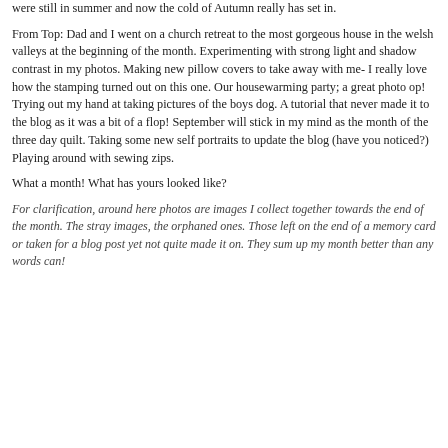were still in summer and now the cold of Autumn really has set in.
From Top: Dad and I went on a church retreat to the most gorgeous house in the welsh valleys at the beginning of the month. Experimenting with strong light and shadow contrast in my photos. Making new pillow covers to take away with me- I really love how the stamping turned out on this one. Our housewarming party; a great photo op! Trying out my hand at taking pictures of the boys dog. A tutorial that never made it to the blog as it was a bit of a flop! September will stick in my mind as the month of the three day quilt. Taking some new self portraits to update the blog (have you noticed?) Playing around with sewing zips.
What a month! What has yours looked like?
For clarification, around here photos are images I collect together towards the end of the month. The stray images, the orphaned ones. Those left on the end of a memory card or taken for a blog post yet not quite made it on. They sum up my month better than any words can!